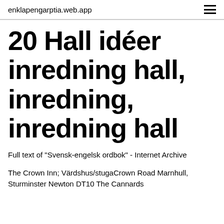enklapengarptia.web.app
20 Hall idéer inredning hall, inredning, inredning hall
Full text of "Svensk-engelsk ordbok" - Internet Archive
The Crown Inn; Värdshus/stugaCrown Road Marnhull, Sturminster Newton DT10 The Cannards